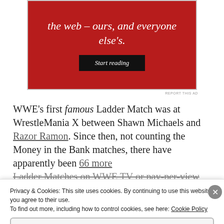[Figure (other): Red advertisement banner with white italic text reading 'the web – ours, and everyone else's.' and a black 'Start reading' button]
REPORT THIS AD
WWE's first famous Ladder Match was at WrestleMania X between Shawn Michaels and Razor Ramon. Since then, not counting the Money in the Bank matches, there have apparently been 66 more Ladder Matches on WWE TV or pay-per-view
Privacy & Cookies: This site uses cookies. By continuing to use this website, you agree to their use.
To find out more, including how to control cookies, see here: Cookie Policy
Close and accept